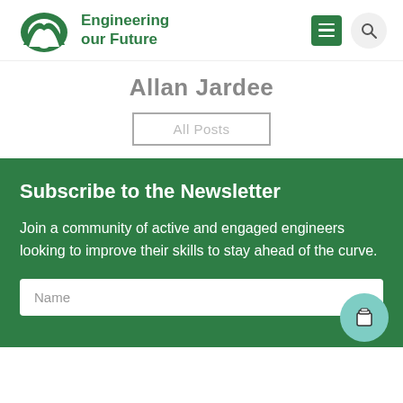Engineering our Future
Allan Jardee
All Posts
Subscribe to the Newsletter
Join a community of active and engaged engineers looking to improve their skills to stay ahead of the curve.
Name